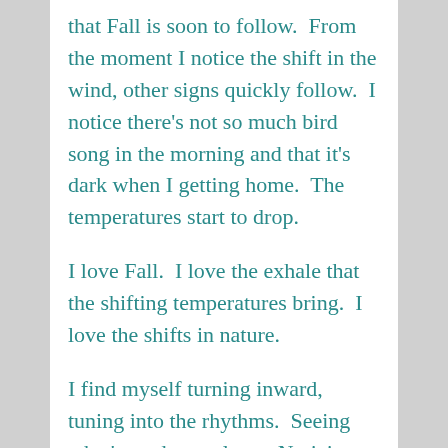that Fall is soon to follow.  From the moment I notice the shift in the wind, other signs quickly follow.  I notice there's not so much bird song in the morning and that it's dark when I getting home.  The temperatures start to drop.
I love Fall.  I love the exhale that the shifting temperatures bring.  I love the shifts in nature.
I find myself turning inward, tuning into the rhythms.  Seeing what's ready to release.  Noticing the pulse of what's to